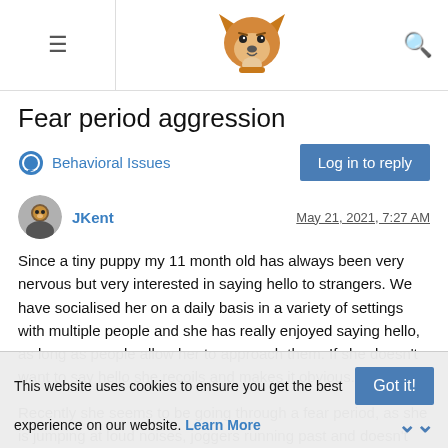Fear period aggression - dog forum with corgi logo
Fear period aggression
Behavioral Issues
JKent   May 21, 2021, 7:27 AM
Since a tiny puppy my 11 month old has always been very nervous but very interested in saying hello to strangers. We have socialised her on a daily basis in a variety of settings with multiple people and she has really enjoyed saying hello, as long as people allow her to approach them. If she doesn't want to say hello she recoils and makes it obvious.
Recently she seems to be going through a fear period, as she is jumping at loud noises, joggers running past and doesn't want to go down an alleyway that she has been walking through for months.
This website uses cookies to ensure you get the best experience on our website. Learn More